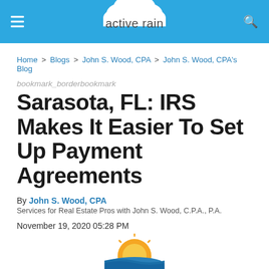active rain
Home > Blogs > John S. Wood, CPA > John S. Wood, CPA's Blog
bookmark_borderbookmark
Sarasota, FL: IRS Makes It Easier To Set Up Payment Agreements
By John S. Wood, CPA
Services for Real Estate Pros with John S. Wood, C.P.A., P.A.
November 19, 2020 05:28 PM
[Figure (logo): Sunrise/sunset logo with orange sun and blue waves at bottom of page]